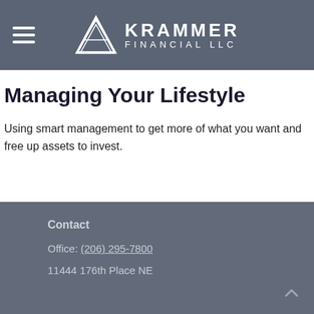KRAMMER FINANCIAL LLC
Managing Your Lifestyle
Using smart management to get more of what you want and free up assets to invest.
Contact
Office: (206) 295-7800
11444 176th Place NE